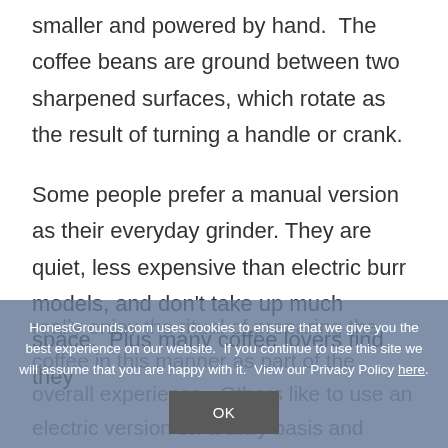smaller and powered by hand.  The coffee beans are ground between two sharpened surfaces, which rotate as the result of turning a handle or crank.
Some people prefer a manual version as their everyday grinder. They are quiet, less expensive than electric burr models, and don't take up much space.  Plus many coffee lovers find they really enjoy the ritual of preparing the coffee in this manner as part of the overall experience.  Others like to use an electric version on a daily basis and
HonestGrounds.com uses cookies to ensure that we give you the best experience on our website.  If you continue to use this site we will assume that you are happy with it.  View our Privacy Policy here.